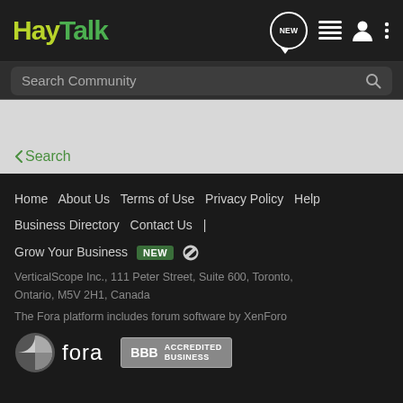HayTalk
Search Community
< Search
Home  About Us  Terms of Use  Privacy Policy  Help  Business Directory  Contact Us  |  Grow Your Business  NEW
VerticalScope Inc., 111 Peter Street, Suite 600, Toronto, Ontario, M5V 2H1, Canada
The Fora platform includes forum software by XenForo
[Figure (logo): Fora logo (circle icon with white/gray pie shape and 'fora' text)]
[Figure (logo): BBB Accredited Business badge]